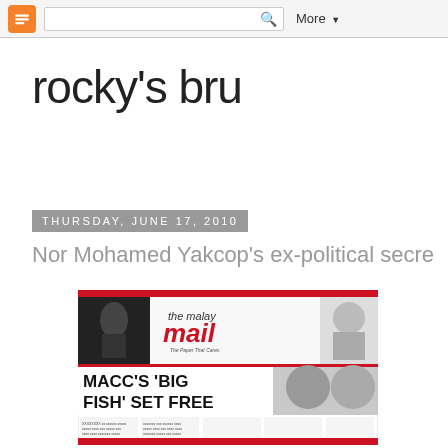Blogger navigation bar with search and More menu
rocky's bru
Thursday, June 17, 2010
Nor Mohamed Yakcop's ex-political secre
[Figure (photo): Scanned front page of The Malay Mail newspaper with headline 'MACC'S BIG FISH SET FREE' and photos of several individuals]